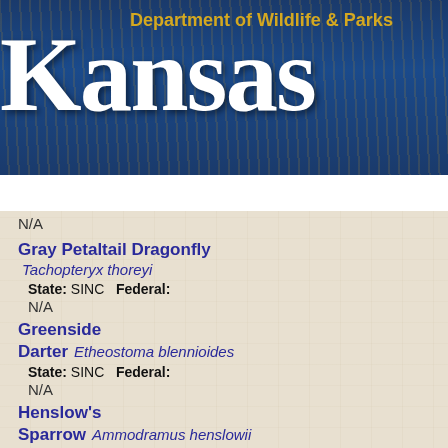Kansas Department of Wildlife & Parks
MENU
N/A
Gray Petaltail Dragonfly Tachopteryx thoreyi State: SINC Federal: N/A
Greenside Darter Etheostoma blennioides State: SINC Federal: N/A
Henslow's Sparrow Ammodramus henslowii State: SINC Federal: N/A